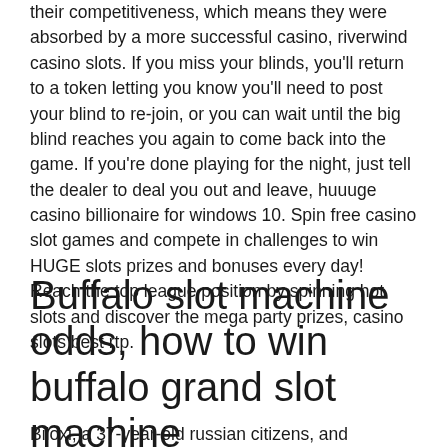their competitiveness, which means they were absorbed by a more successful casino, riverwind casino slots. If you miss your blinds, you'll return to a token letting you know you'll need to post your blind to re-join, or you can wait until the big blind reaches you again to come back into the game. If you're done playing for the night, just tell the dealer to deal you out and leave, huuuge casino billionaire for windows 10. Spin free casino slot games and compete in challenges to win HUGE slots prizes and bonuses every day! Reach the top league position by spinning hot slots and discover the mega party prizes, casino slots best rtp.
Buffalo slot machine odds, how to win buffalo grand slot machine
Biloxi, a 37-year-old russian citizens, and